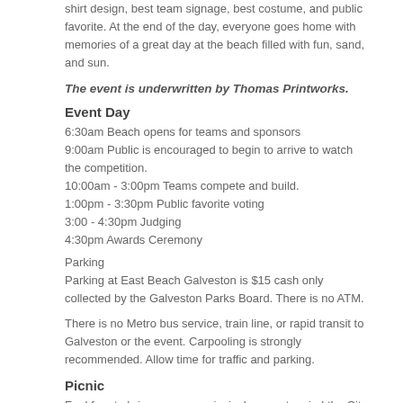shirt design, best team signage, best costume, and public favorite. At the end of the day, everyone goes home with memories of a great day at the beach filled with fun, sand, and sun.
The event is underwritten by Thomas Printworks.
Event Day
6:30am Beach opens for teams and sponsors
9:00am Public is encouraged to begin to arrive to watch the competition.
10:00am - 3:00pm Teams compete and build.
1:00pm - 3:30pm Public favorite voting
3:00 - 4:30pm Judging
4:30pm Awards Ceremony
Parking
Parking at East Beach Galveston is $15 cash only collected by the Galveston Parks Board. There is no ATM.
There is no Metro bus service, train line, or rapid transit to Galveston or the event. Carpooling is strongly recommended. Allow time for traffic and parking.
Picnic
Feel free to bring your own picnic: be sure to mind the City of Galveston's rules and regulations governing East Beach. Visit www.galveston.com/beachparks or call